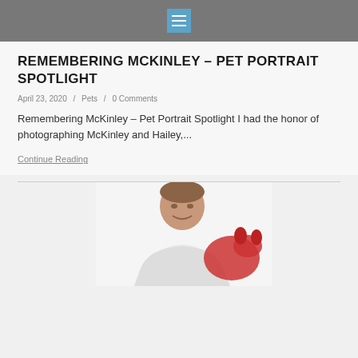REMEMBERING MCKINLEY – PET PORTRAIT SPOTLIGHT
April 23, 2020  /  Pets  /  0 Comments
Remembering McKinley – Pet Portrait Spotlight I had the honor of photographing McKinley and Hailey,...
Continue Reading
[Figure (photo): Partial photo of a man visible from the waist up, smiling, with what appears to be a red object (possibly an animal or item) partially visible, against a white background]